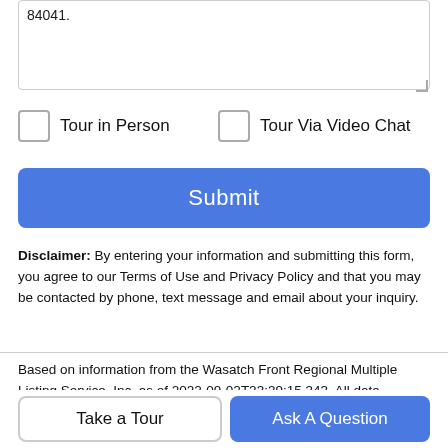84041.
Tour in Person
Tour Via Video Chat
Submit
Disclaimer: By entering your information and submitting this form, you agree to our Terms of Use and Privacy Policy and that you may be contacted by phone, text message and email about your inquiry.
Based on information from the Wasatch Front Regional Multiple Listing Service, Inc. as of 2022-09-02T23:39:15.343. All data, including all measurements and calculations of area, is obtained from various sources and has not been, and will not be,
Take a Tour
Ask A Question